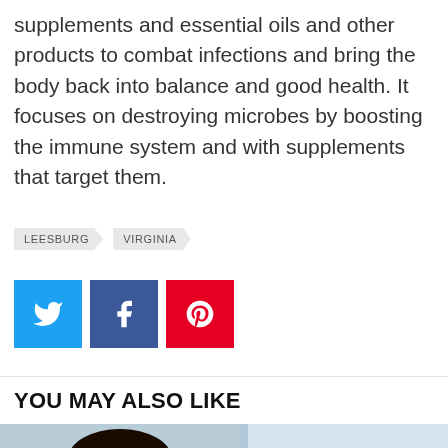supplements and essential oils and other products to combat infections and bring the body back into balance and good health. It focuses on destroying microbes by boosting the immune system and with supplements that target them.
LEESBURG   VIRGINIA
[Figure (infographic): Social share buttons: Twitter (blue), Facebook (dark blue), Pinterest (red)]
YOU MAY ALSO LIKE
[Figure (photo): Thumbnail image of a woman with glasses and dark hair, with bold blue text overlay reading IS IT SAFE TO USE CANNABI[S]]